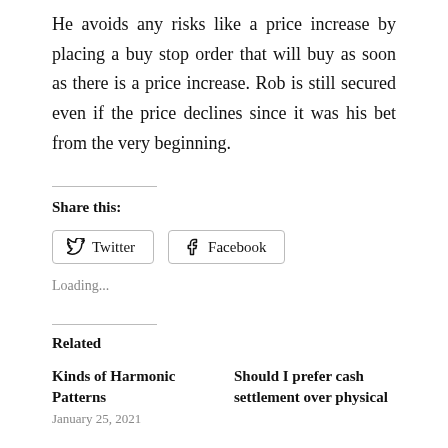He avoids any risks like a price increase by placing a buy stop order that will buy as soon as there is a price increase. Rob is still secured even if the price declines since it was his bet from the very beginning.
Share this:
Twitter  Facebook
Loading...
Related
Kinds of Harmonic Patterns
January 25, 2021
Should I prefer cash settlement over physical